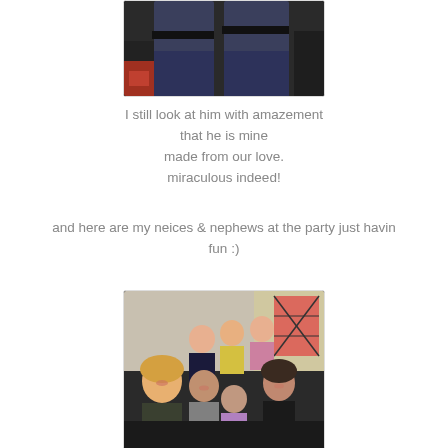[Figure (photo): Top portion of photo showing someone in jeans/dark clothing, cropped at torso]
I still look at him with amazement
that he is mine
made from our love.
miraculous indeed!
and here are my neices & nephews at the party just havin fun :)
[Figure (photo): Group photo of a woman and several children (nieces and nephews) at a party, smiling]